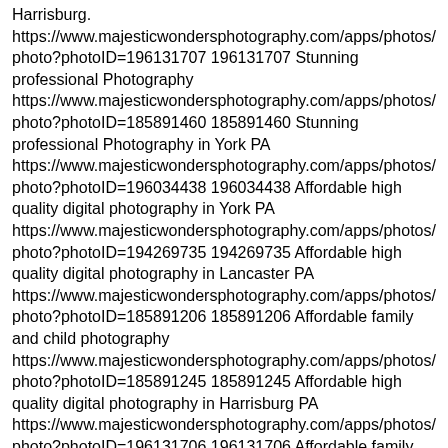Harrisburg. https://www.majesticwondersphotography.com/apps/photos/photo?photoID=196131707 196131707 Stunning professional Photography
https://www.majesticwondersphotography.com/apps/photos/photo?photoID=185891460 185891460 Stunning professional Photography in York PA
https://www.majesticwondersphotography.com/apps/photos/photo?photoID=196034438 196034438 Affordable high quality digital photography in York PA
https://www.majesticwondersphotography.com/apps/photos/photo?photoID=194269735 194269735 Affordable high quality digital photography in Lancaster PA
https://www.majesticwondersphotography.com/apps/photos/photo?photoID=185891206 185891206 Affordable family and child photography
https://www.majesticwondersphotography.com/apps/photos/photo?photoID=185891245 185891245 Affordable high quality digital photography in Harrisburg PA
https://www.majesticwondersphotography.com/apps/photos/photo?photoID=196131706 196131706 Affordable family and child photography
https://www.majesticwondersphotography.com/apps/photos/photo?photoID=196034443 196034443 Affordable family and child photography
https://www.majesticwondersphotography.com/apps/photos/photo?